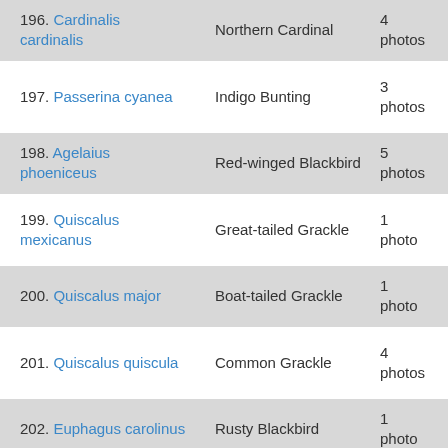196. Cardinalis cardinalis — Northern Cardinal — 4 photos
197. Passerina cyanea — Indigo Bunting — 3 photos
198. Agelaius phoeniceus — Red-winged Blackbird — 5 photos
199. Quiscalus mexicanus — Great-tailed Grackle — 1 photo
200. Quiscalus major — Boat-tailed Grackle — 1 photo
201. Quiscalus quiscula — Common Grackle — 4 photos
202. Euphagus carolinus — Rusty Blackbird — 1 photo
203. Molothrus ater — Brown-headed Cowbird — 2 photos